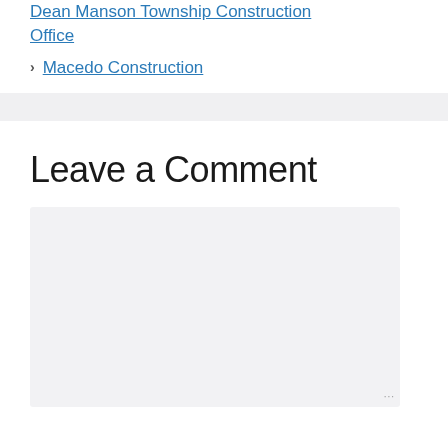Dean Manson Township Construction Office
Macedo Construction
Leave a Comment